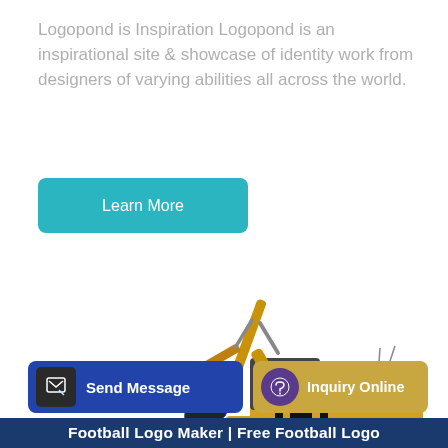Logopond is Inspiration Logopond is an inspirational site & showcase of identity work from designers of varying abilities all across the world.
[Figure (other): A teal/blue rounded rectangle button labeled 'Learn More']
[Figure (photo): A yellow SANY brand excavator (construction machine) on white background, facing left with arm extended upward and bucket visible]
[Figure (other): Bottom action bar with two buttons: a blue 'Send Message' button with pencil icon on the left, and a gold/tan 'Inquiry Online' button with headset icon on the right]
Football Logo Maker | Free Football Logo